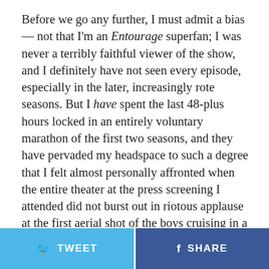Before we go any further, I must admit a bias — not that I'm an Entourage superfan; I was never a terribly faithful viewer of the show, and I definitely have not seen every episode, especially in the later, increasingly rote seasons. But I have spent the last 48-plus hours locked in an entirely voluntary marathon of the first two seasons, and they have pervaded my headspace to such a degree that I felt almost personally affronted when the entire theater at the press screening I attended did not burst out in riotous applause at the first aerial shot of the boys cruising in a motorboat off the coast of Ibiza. After the past several days stewing in the bro-verse, this felt like a towering cinematic moment on the order of the Star Wars title zooming back into the stars to John Williams